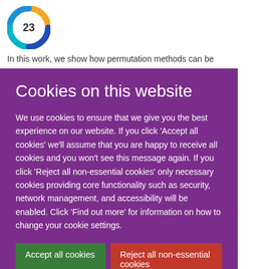[Figure (logo): Circular swirl logo in blue, teal, and orange with the number 23 in the center]
In this work, we show how permutation methods can be
Cookies on this website
We use cookies to ensure that we give you the best experience on our website. If you click 'Accept all cookies' we'll assume that you are happy to receive all cookies and you won't see this message again. If you click 'Reject all non-essential cookies' only necessary cookies providing core functionality such as security, network management, and accessibility will be enabled. Click 'Find out more' for information on how to change your cookie settings.
Accept all cookies
Reject all non-essential cookies
Find out more